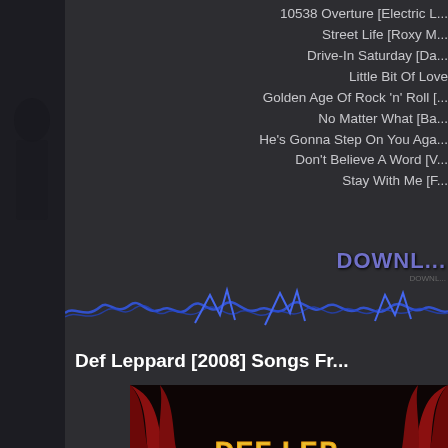10538 Overture [Electric L...
Street Life [Roxy M...
Drive-In Saturday [Da...
Little Bit Of Love
Golden Age Of Rock 'n' Roll [...
No Matter What [Ba...
He's Gonna Step On You Aga...
Don't Believe A Word [V...
Stay With Me [F...
[Figure (logo): DOWNL... styled logo text in purple/blue metallic font]
[Figure (illustration): Blue lightning bolt / electric zigzag line across the page]
Def Leppard [2008] Songs Fr...
[Figure (photo): Def Leppard album cover showing red curtains on stage with the Def Leppard logo lit up in yellow/gold against a theatrical backdrop]